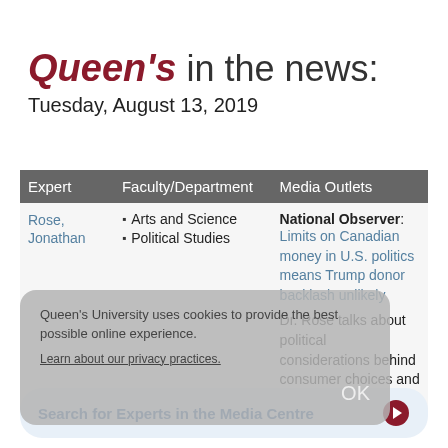Queen's in the news: Tuesday, August 13, 2019
| Expert | Faculty/Department | Media Outlets |
| --- | --- | --- |
| Rose, Jonathan | Arts and Science
Political Studies | National Observer: Limits on Canadian money in U.S. politics means Trump donor backlash unlikely
Dr. Rose talks about political considerations behind consumer choices and potential boycotts. |
Queen's University uses cookies to provide the best possible online experience. Learn about our privacy practices.
Search for Experts in the Media Centre